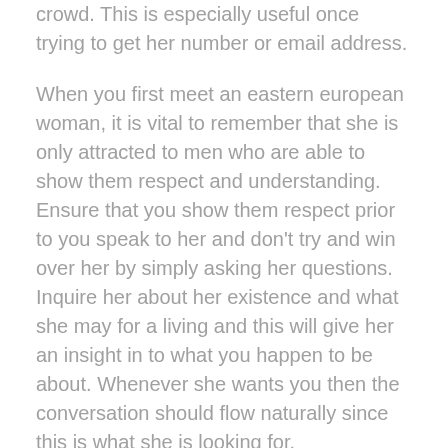crowd. This is especially useful once trying to get her number or email address.
When you first meet an eastern european woman, it is vital to remember that she is only attracted to men who are able to show them respect and understanding. Ensure that you show them respect prior to you speak to her and don't try and win over her by simply asking her questions. Inquire her about her existence and what she may for a living and this will give her an insight in to what you happen to be about. Whenever she wants you then the conversation should flow naturally since this is what she is looking for.
It is important to remember that Russian females do not always like to be cornered and will not really go for a guy who will try too hard. You should attempt to avoid her if you are by any means worried about her reaction to you.